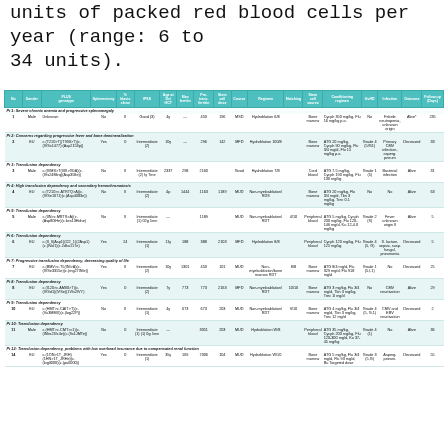units of packed red blood cells per year (range: 6 to 34 units).
| No | Gender | PLUS genotype | Splenectomy | % blasts clone | IPSS | Age at Dx | Max ferritin | Pre-trans. ferritin | Stem cell dose | Course | Regimen | Matching | Stem cell source | Conditioning regimen | GvHD | Infection | Outcome | Follow-up (days) |
| --- | --- | --- | --- | --- | --- | --- | --- | --- | --- | --- | --- | --- | --- | --- | --- | --- | --- | --- |
| 1 | Male | Unknown | No | II | Good (3) | 4y | — | 450 | 196 | MSD | Hydroblation 6/8 | Bone marrow | Cycph 350 mg/kg, Flu 16 mg/kg p.o. | No | Febrile neutropenia, unknown origin | Alive* | 235 |
| 2 | EU | c.(T210>T)(T990>T)(c.(IVSs1477): (Asp2153p) | Yes | 0 | Intermediate (2) | 10y | — | 296 | 142 | MFD | Hydroblation 100/8 | Bone marrow | ATG 20 mg/kg, Cycph 90 mg/kg, Flu 3/4 mg/d, Flu 15 mg/kg p.o. | Grade 4 (5/G1) | Primary CMV infection, asperg. pneum | Deceased | 33 |
| 3 | Male | c.(IVMS>T(VIII>G5A)(c.(IVs24Mtrq)(Asp358e)) | No | II | Intermediate (2) Iy Tme | 2337 | 298 | 2160 | Good | Hydroblation T/8 | Cord blood | ATG 7.5 mg/kg, Cycph 190 mg/kg, Flu 130 mg/kg | Grade 1 (5) | Bacterial infection | Alive | 31 |
| 4 | EU | c.(T210>c.ATRTQ>A)(c.(IVSe1071)(c.(Asp4083e)) | No | II | Intermediate (2) | 4p | 1444 | 1163 | 1189 | MUD | Non-myeloablation/RDS | Bone marrow | ATG 20 mg/kg, Flu 3/4 mg/d, Tbn 3 mg/kg, Trec 0.1 mg/kg | No | No | Alive | 63 |
| 5 | Male | c.(IIN>c.MRTS>A)(c.(Asp8GHe)(c.kes13Hdne) | No | II | Intermediate (1) 02g 5mn | — | 1189 | MUD | Non-myeloablation/RDT | 4/10 | Peripheral blood | ATG 5 mg/kg, Cycph 200 mg/kg, Flu 120-146 mg/d, Ku 12-4.0 mg/kg | Grade 2 (S) | Fever unknown origin II | Alive | 5 |
| 6 | EU | c.(II_II(Asp1)(I22_1)(2Asp1)(c.(IVal1)(c.2dku117e) | Yes | 24 | Intermediate (1) | 11y | 188 | 388 | 2103 | MFD | Hydroblation 8/8 | Peripheral blood | Cycph 120 mg/kg, Flu 125 mg/kg | Grade 4 (5, G) | S. lactam, sepsis, susp. fungal, pneumonia | Deceased | 5 |
| 7 | EU | c.(BMV>c.T5(INI>A)(c.(IVSe3355e)(c.(mg27INIe)) | Yes | II | Intermediate (2) | 10y | 1301 | 450 | 101 | MUD | Non-myeloablation/bone marrow RDT | 8/8 | Bone marrow | ATG 8/4 mg/d, Flu 329 mg/d, Flu 918 mg/d | Grade 1 (5,I,1) | No | Deceased | 25 |
| 8 | EU | c.(I120>c.AMII0>T)(c.(IVSd1)(IVSe)(1VIs2IVY) | Yes | 0 | Intermediate (2) | 7y | 773 | 773 | 2163 | MFD | Non-myeloablation/RDT | 10/10 | Bone marrow | ATG 3 mg/kg, Flu 3/4 mg/d, Tbn 3 mg/kg, Trec 1l mg/d | No | CMV reactivation | Alive | 29 |
| 10 | EU | c.(HMT>c.CAIT>T)(c.(Vu3MMX)(c.(log22P)) | No | II | Intermediate (1) | 4y | 673 | 673 | 203 | MUD | Non-myeloablation/RDT | 9/10 | Bone marrow | ATG 4 mg/kg, Flu 3/4 mg/d, Tbn 3 mg/kg, Trec 12 mg/d | Grade 4 (5, G,1) | CMV and EBV reactivation | Deceased | 2 |
| 11 | Male | c.(HMT>c.CMT>c1)(c.(INbs23/c4e)(c.(9s1JMTe)) | No | 0 | Intermediate (1) (1) 0g 5mn | — | 3051 | 203 | MUD | Hydroblation W/8 | Peripheral blood | ATG 35 mg/kg, Cycph 200 mg/kg, Flu 120-300 mg/d, Ku 37-45 mg/kg | Grade 4 (1) | No | Alive | 36 |
| 14 | EU | c.(1ON>1T_JRH)(1HN>1T_JRHe)(c.(log3000)(c.(pa6000)) | Yes | 0 | Intermediate (1) | 35y | 169 | 7006 | 104 | MUD | Hydroblation W/10 | Bone marrow | ATG 5 mg/kg, Flu 3/4 mg/d, Flu 93 mg/d, Bu Targeted dose | Grade 3 (5,G) | Asperg. pneum. | Deceased | 55 |